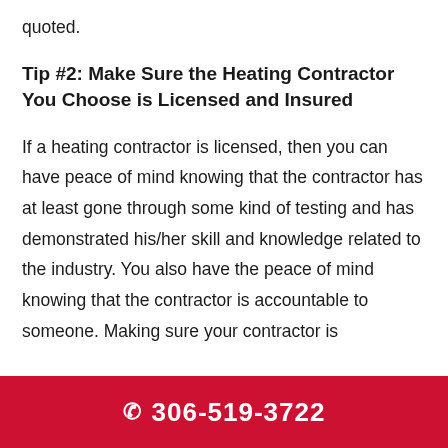quoted.
Tip #2: Make Sure the Heating Contractor You Choose is Licensed and Insured
If a heating contractor is licensed, then you can have peace of mind knowing that the contractor has at least gone through some kind of testing and has demonstrated his/her skill and knowledge related to the industry. You also have the peace of mind knowing that the contractor is accountable to someone. Making sure your contractor is
☎ 306-519-3722